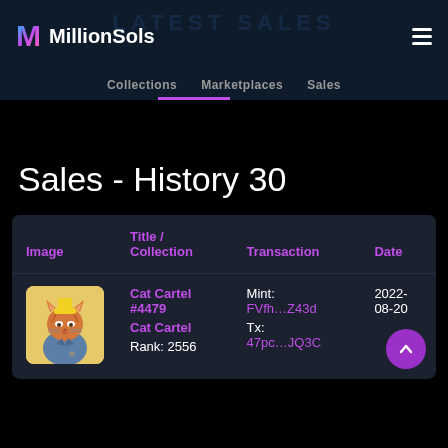MillionSols
Collections  Marketplaces  Sales
Sales - History 30
| Image | Title / Collection | Transaction | Date |
| --- | --- | --- | --- |
| [NFT image] | Cat Cartel #4479
Cat Cartel
Rank: 2556 | Mint:
FVfh…Z43d
Tx:
47pc…JQ3C | 2022-08-20 |